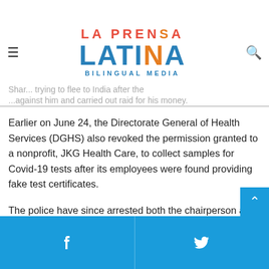La Prensa Latina Bilingual Media
Earlier on June 24, the Directorate General of Health Services (DGHS) also revoked the permission granted to a nonprofit, JKG Health Care, to collect samples for Covid-19 tests after its employees were found providing fake test certificates.
The police have since arrested both the chairperson and chief executive officer of the nonprofit.
Bangladesh has been struggling to contain the spread of the novel coronavirus, with a total 202,066 confirmed cases and 2,581 deaths, according to WHO data Monday.
Facebook | Twitter share buttons